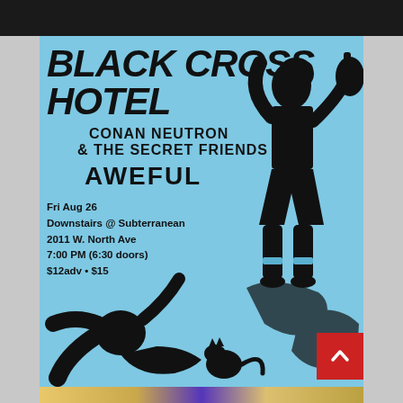[Figure (illustration): Black band at top, a dark bar representing a website header/navigation area]
[Figure (infographic): Concert flyer on light blue background. Silhouette of a woman playing guitar standing on top of other band members. Black graphic artwork.]
BLACK CROSS HOTEL
CONAN NEUTRON
& THE SECRET FRIENDS
AWEFUL
Fri Aug 26
Downstairs @ Subterranean
2011 W. North Ave
7:00 PM (6:30 doors)
$12adv • $15
[Figure (illustration): Bottom strip showing partial faces, likely a teaser for the next post image]